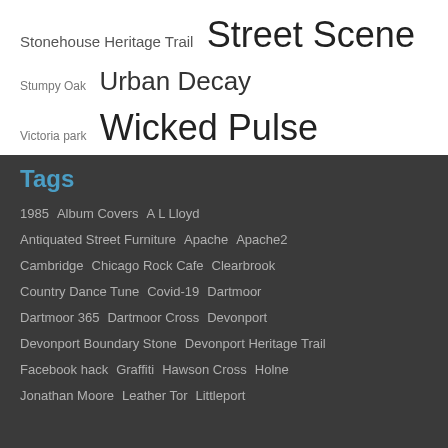Stonehouse Heritage Trail  Street Scene  Stumpy Oak  Urban Decay  Victoria park  Wicked Pulse
Tags
1985  Album Covers  A L Lloyd  Antiquated Street Furniture  Apache  Apache2  Cambridge  Chicago Rock Cafe  Clearbrook  Country Dance Tune  Covid-19  Dartmoor  Dartmoor 365  Dartmoor Cross  Devonport  Devonport Boundary Stone  Devonport Heritage Trail  Facebook hack  Graffiti  Hawson Cross  Holne  Jonathan Moore  Leather Tor  Littleport